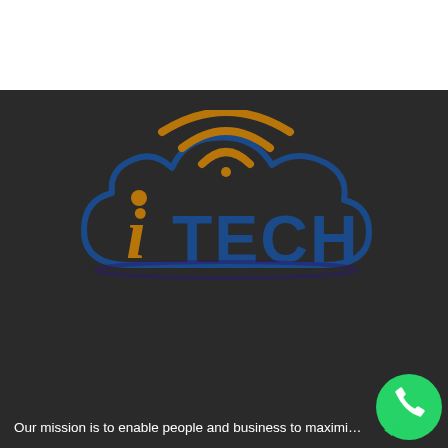[Figure (logo): iTECH logo — a blue cloud outline containing the word 'iTECH' in bold blue letters with a stylized orange italic 'i', topped with orange WiFi signal arc shapes, on a dark background]
Our mission is to enable people and business to maximi…